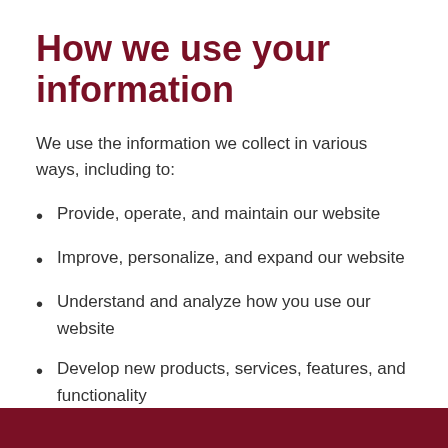How we use your information
We use the information we collect in various ways, including to:
Provide, operate, and maintain our website
Improve, personalize, and expand our website
Understand and analyze how you use our website
Develop new products, services, features, and functionality